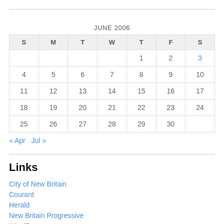| S | M | T | W | T | F | S |
| --- | --- | --- | --- | --- | --- | --- |
|  |  |  |  | 1 | 2 | 3 |
| 4 | 5 | 6 | 7 | 8 | 9 | 10 |
| 11 | 12 | 13 | 14 | 15 | 16 | 17 |
| 18 | 19 | 20 | 21 | 22 | 23 | 24 |
| 25 | 26 | 27 | 28 | 29 | 30 |  |
« Apr   Jul »
Links
City of New Britain
Courant
Herald
New Britain Progressive
WordPress.org